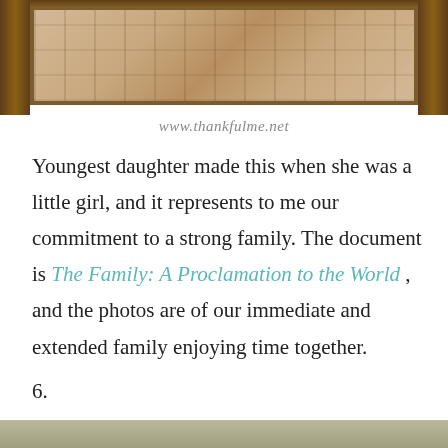[Figure (photo): A wooden picture frame containing family photos, shown at top of page. A watermark text 'www.thankfulme.net' appears below the frame.]
www.thankfulme.net
Youngest daughter made this when she was a little girl, and it represents to me our commitment to a strong family.  The document is The Family:  A Proclamation to the World , and the photos are of our immediate and extended family enjoying time together.
6.
[Figure (photo): Bottom portion of page showing a muted olive/tan colored bar or image strip.]